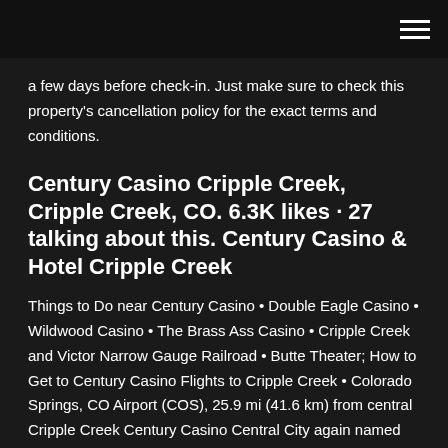a few days before check-in. Just make sure to check this property's cancellation policy for the exact terms and conditions.
Century Casino Cripple Creek, Cripple Creek, CO. 6.3K likes · 27 talking about this. Century Casino & Hotel Cripple Creek
Things to Do near Century Casino • Double Eagle Casino • Wildwood Casino • The Brass Ass Casino • Cripple Creek and Victor Narrow Gauge Railroad • Butte Theater; How to Get to Century Casino Flights to Cripple Creek • Colorado Springs, CO Airport (COS), 25.9 mi (41.6 km) from central Cripple Creek Century Casino Central City again named